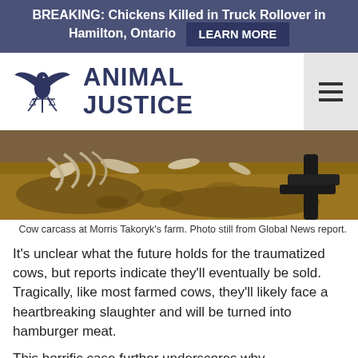BREAKING: Chickens Killed in Truck Rollover in Hamilton, Ontario  LEARN MORE
[Figure (logo): Animal Justice logo with stylized bird/dove holding scales of justice, beside bold text reading ANIMAL JUSTICE]
[Figure (photo): Cow carcass at Morris Takoryk's farm, close-up of bones and remains in dirt, photo still from Global News report]
Cow carcass at Morris Takoryk's farm. Photo still from Global News report.
It's unclear what the future holds for the traumatized cows, but reports indicate they'll eventually be sold. Tragically, like most farmed cows, they'll likely face a heartbreaking slaughter and will be turned into hamburger meat.
This horrific case further underscores why governments should conduct proactive inspections on farms, instead of